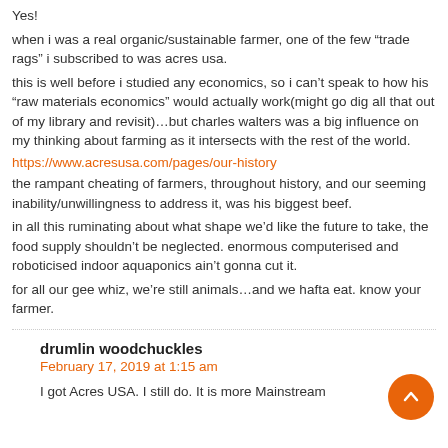Yes!
when i was a real organic/sustainable farmer, one of the few “trade rags” i subscribed to was acres usa. this is well before i studied any economics, so i can’t speak to how his “raw materials economics” would actually work(might go dig all that out of my library and revisit)…but charles walters was a big influence on my thinking about farming as it intersects with the rest of the world.
https://www.acresusa.com/pages/our-history
the rampant cheating of farmers, throughout history, and our seeming inability/unwillingness to address it, was his biggest beef.
in all this ruminating about what shape we’d like the future to take, the food supply shouldn’t be neglected. enormous computerised and roboticised indoor aquaponics ain’t gonna cut it.
for all our gee whiz, we’re still animals…and we hafta eat. know your farmer.
drumlin woodchuckles
February 17, 2019 at 1:15 am
I got Acres USA. I still do. It is more Mainstream